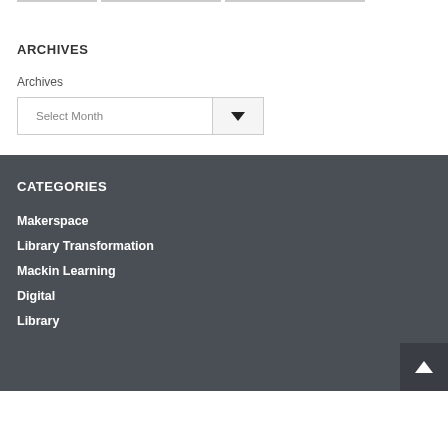ARCHIVES
Archives
Select Month
CATEGORIES
Makerspace
Library Transformation
Mackin Learning
Digital
Library